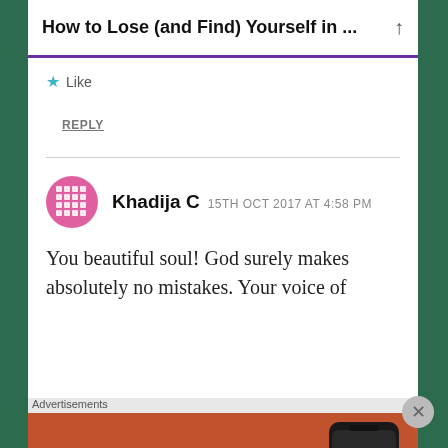How to Lose (and Find) Yourself in ...
★ Like
REPLY
Khadija C  15TH OCT 2017 AT 4:58 PM
You beautiful soul! God surely makes absolutely no mistakes. Your voice of
[Figure (screenshot): DuckDuckGo advertisement banner: 'Search, browse, and email with more privacy. All in One Free App' with phone showing DuckDuckGo app icon]